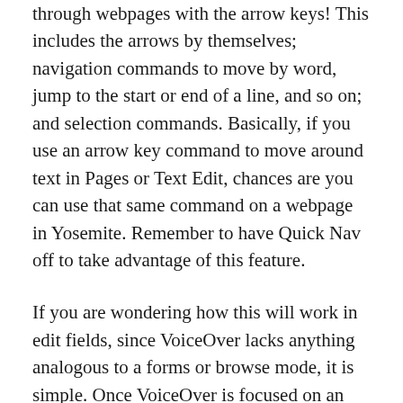through webpages with the arrow keys! This includes the arrows by themselves; navigation commands to move by word, jump to the start or end of a line, and so on; and selection commands. Basically, if you use an arrow key command to move around text in Pages or Text Edit, chances are you can use that same command on a webpage in Yosemite. Remember to have Quick Nav off to take advantage of this feature.
If you are wondering how this will work in edit fields, since VoiceOver lacks anything analogous to a forms or browse mode, it is simple. Once VoiceOver is focused on an edit field, the arrow keys will move only within the field. To get out of it and continue arrowing through a page, simply use a VoiceOver command to move focus elsewhere (for instance, vo-right). That is not to say that VoiceOver will get "stuck" in an edit field...